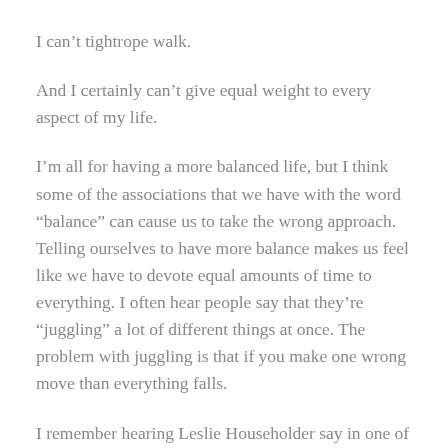I can't tightrope walk.
And I certainly can't give equal weight to every aspect of my life.
I'm all for having a more balanced life, but I think some of the associations that we have with the word “balance” can cause us to take the wrong approach. Telling ourselves to have more balance makes us feel like we have to devote equal amounts of time to everything. I often hear people say that they’re “juggling” a lot of different things at once. The problem with juggling is that if you make one wrong move than everything falls.
I remember hearing Leslie Householder say in one of